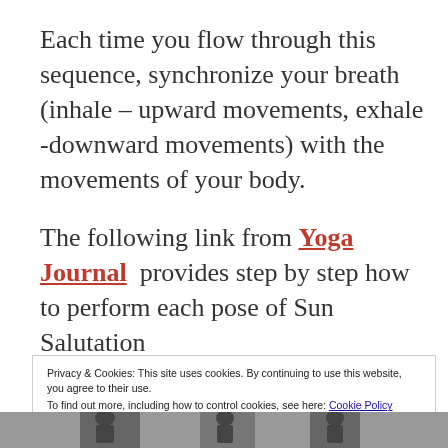Each time you flow through this sequence, synchronize your breath (inhale – upward movements, exhale -downward movements) with the movements of your body.
The following link from Yoga Journal  provides step by step how to perform each pose of Sun Salutation
Privacy & Cookies: This site uses cookies. By continuing to use this website, you agree to their use.
To find out more, including how to control cookies, see here: Cookie Policy
Close and accept
[Figure (photo): Black and white photo strip of yoga poses at the bottom of the page]